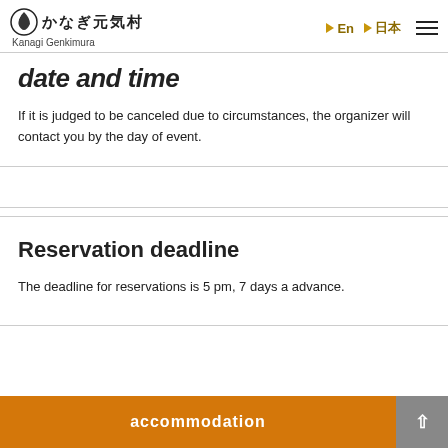かなぎ元気村 / Kanagi Genkimura
date and time
If it is judged to be canceled due to circumstances, the organizer will contact you by the day of event.
Reservation deadline
The deadline for reservations is 5 pm, 7 days a advance.
accommodation